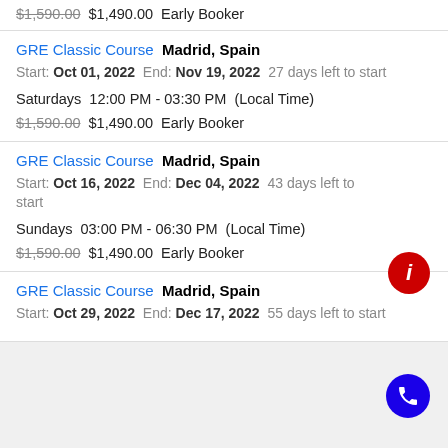$1,590.00 $1,490.00 Early Booker
GRE Classic Course Madrid, Spain
Start: Oct 01, 2022 End: Nov 19, 2022 27 days left to start
Saturdays 12:00 PM - 03:30 PM (Local Time)
$1,590.00 $1,490.00 Early Booker
GRE Classic Course Madrid, Spain
Start: Oct 16, 2022 End: Dec 04, 2022 43 days left to start
Sundays 03:00 PM - 06:30 PM (Local Time)
$1,590.00 $1,490.00 Early Booker
GRE Classic Course Madrid, Spain
Start: Oct 29, 2022 End: Dec 17, 2022 55 days left to start